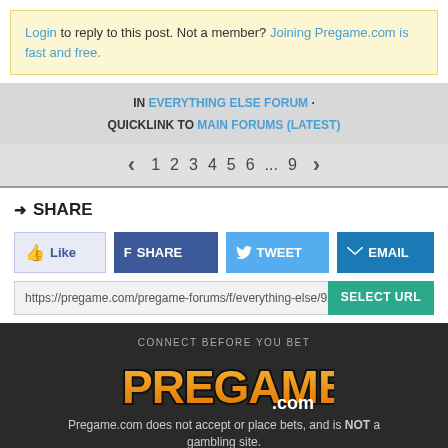Login to reply to this post. Not a member? Joining Pregame.com is fast and free.
IN EVERYTHING ELSE FORUM · QUICKLINK TO MAIN FORUMS (LATEST)
< 1 2 3 4 5 6 ... 9 >
SHARE
Like  SHARE  TWEET  EMAIL
https://pregame.com/pregame-forums/f/everything-else/9  SELECT URL
[Figure (logo): Pregame.com logo with tagline CONNECT BEFORE YOU BET]
Pregame.com does not accept or place bets, and is NOT a gambling site.